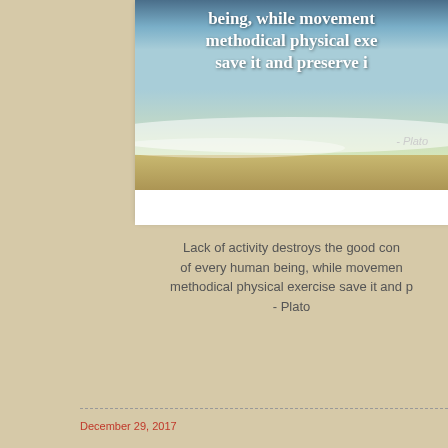[Figure (photo): Beach scene with ocean waves and sky, overlaid with a Plato quote about activity and health in white bold text]
Quotes About Food And Health
Lack of activity destroys the good condition of every human being, while movement and methodical physical exercise save it and preserve it. - Plato
December 29, 2017